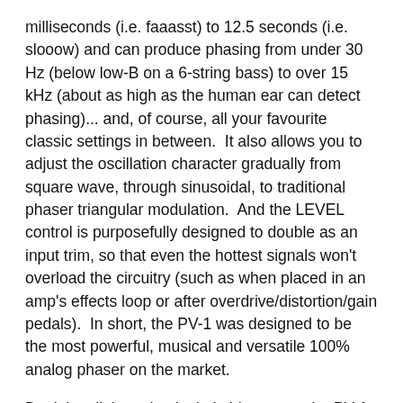milliseconds (i.e. faaasst) to 12.5 seconds (i.e. slooow) and can produce phasing from under 30 Hz (below low-B on a 6-string bass) to over 15 kHz (about as high as the human ear can detect phasing)... and, of course, all your favourite classic settings in between.  It also allows you to adjust the oscillation character gradually from square wave, through sinusoidal, to traditional phaser triangular modulation.  And the LEVEL control is purposefully designed to double as an input trim, so that even the hottest signals won't overload the circuitry (such as when placed in an amp's effects loop or after overdrive/distortion/gain pedals).  In short, the PV-1 was designed to be the most powerful, musical and versatile 100% analog phaser on the market.
Don't let all those knobs intimidate you - the PV-1 is easy to dial in even if you're used to a one-knob phaser.
Covers the frequency sweep and notch